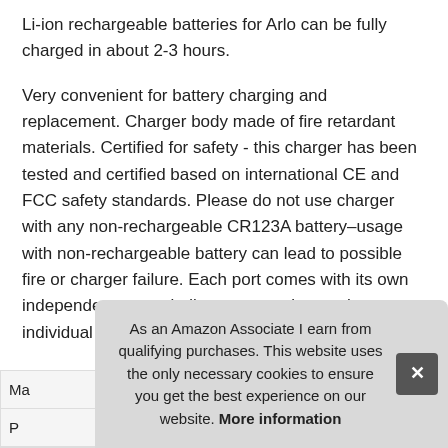Li-ion rechargeable batteries for Arlo can be fully charged in about 2-3 hours.
Very convenient for battery charging and replacement. Charger body made of fire retardant materials. Certified for safety - this charger has been tested and certified based on international CE and FCC safety standards. Please do not use charger with any non-rechargeable CR123A battery–usage with non-rechargeable battery can lead to possible fire or charger failure. Each port comes with its own independent status indicator to monitor each individual battery's charging status.
| Ma |
| P |
As an Amazon Associate I earn from qualifying purchases. This website uses the only necessary cookies to ensure you get the best experience on our website. More information